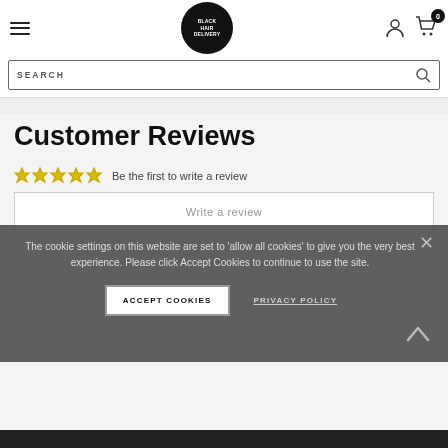Hair Delivery - navigation header with hamburger menu, logo, user icon, cart (0)
SEARCH
Customer Reviews
Be the first to write a review
Write a review
The cookie settings on this website are set to 'allow all cookies' to give you the very best experience. Please click Accept Cookies to continue to use the site.
ACCEPT COOKIES
PRIVACY POLICY